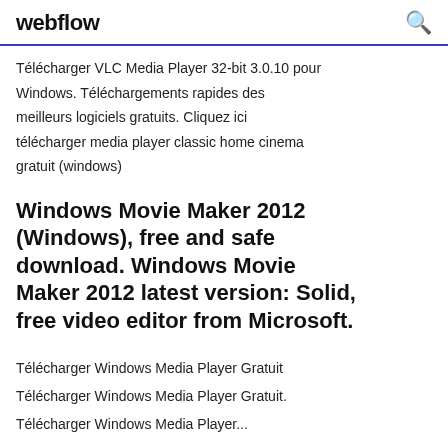webflow
Télécharger VLC Media Player 32-bit 3.0.10 pour Windows. Téléchargements rapides des meilleurs logiciels gratuits. Cliquez ici télécharger media player classic home cinema gratuit (windows)
Windows Movie Maker 2012 (Windows), free and safe download. Windows Movie Maker 2012 latest version: Solid, free video editor from Microsoft.
Télécharger Windows Media Player Gratuit
Télécharger Windows Media Player Gratuit.
Télécharger Windows Media Player...